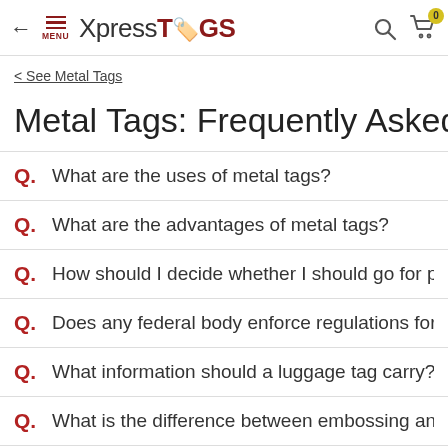XpressTAGS — navigation header with back arrow, menu, logo, search and cart icons
< See Metal Tags
Metal Tags: Frequently Asked Questions
Q. What are the uses of metal tags?
Q. What are the advantages of metal tags?
Q. How should I decide whether I should go for plastic tags o...
Q. Does any federal body enforce regulations for metal valv...
Q. What information should a luggage tag carry?
Q. What is the difference between embossing and debossing